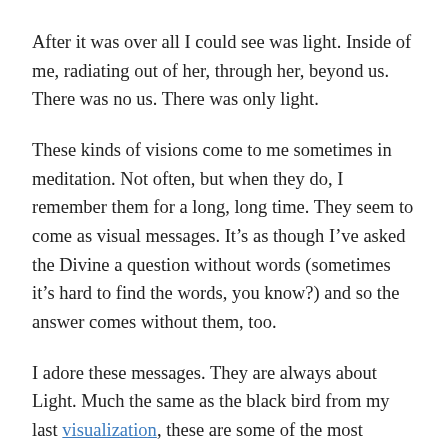After it was over all I could see was light. Inside of me, radiating out of her, through her, beyond us. There was no us. There was only light.
These kinds of visions come to me sometimes in meditation. Not often, but when they do, I remember them for a long, long time. They seem to come as visual messages. It’s as though I’ve asked the Divine a question without words (sometimes it’s hard to find the words, you know?) and so the answer comes without them, too.
I adore these messages. They are always about Light. Much the same as the black bird from my last visualization, these are some of the most powerful, peaceful, gorgeous revelations and they are always crystal clear in tone and intention.
Part of our mission as light-workers, as miracle-workers, is to